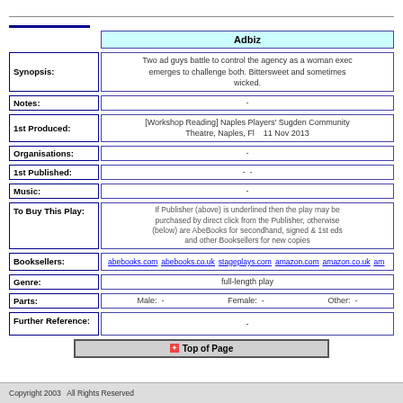Adbiz
| Field | Value |
| --- | --- |
| Synopsis: | Two ad guys battle to control the agency as a woman exec emerges to challenge both. Bittersweet and sometimes wicked. |
| Notes: | - |
| 1st Produced: | [Workshop Reading] Naples Players' Sugden Community Theatre, Naples, Fl   11 Nov 2013 |
| Organisations: | - |
| 1st Published: | - - |
| Music: | - |
| To Buy This Play: | If Publisher (above) is underlined then the play may be purchased by direct click from the Publisher, otherwise (below) are AbeBooks for secondhand, signed & 1st eds and other Booksellers for new copies |
| Booksellers: | abebooks.com  abebooks.co.uk  stageplays.com  amazon.com  amazon.co.uk  am... |
| Genre: | full-length play |
| Parts: | Male: -   Female: -   Other: - |
| Further Reference: | - |
Top of Page
Copyright 2003  All Rights Reserved